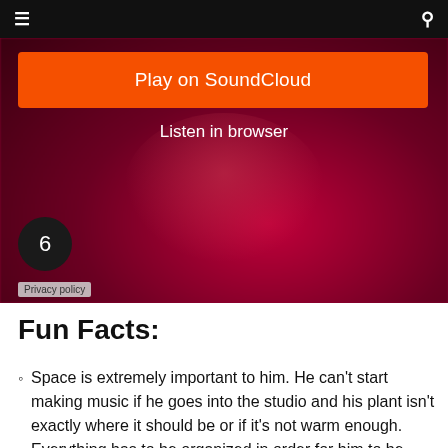≡  🔍
[Figure (screenshot): SoundCloud embedded player widget with orange 'Play on SoundCloud' button, 'Listen in browser' text, dark red/maroon blurred background with a person, circle with number 6, and Privacy policy label]
Fun Facts:
Space is extremely important to him. He can't start making music if he goes into the studio and his plant isn't exactly where it should be or if it's not warm enough. Everything has to be organized in order for him to be able to destroy sequences of